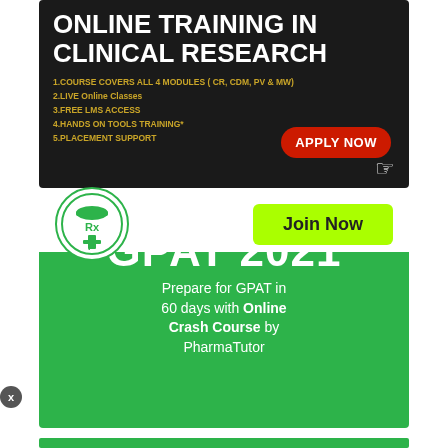[Figure (illustration): Online Training in Clinical Research advertisement banner on dark background. Lists: 1.COURSE COVERS ALL 4 MODULES (CR, CDM, PV & MW), 2.LIVE Online Classes, 3.FREE LMS ACCESS, 4.HANDS ON TOOLS TRAINING*, 5.PLACEMENT SUPPORT. Red APPLY NOW button with cursor icon.]
[Figure (illustration): Online tutorial for GPAT 2021 green advertisement banner. Text: Prepare for GPAT in 60 days with Online Crash Course by PharmaTutor. PharmaTutor logo at bottom left. Green Join Now button at bottom right.]